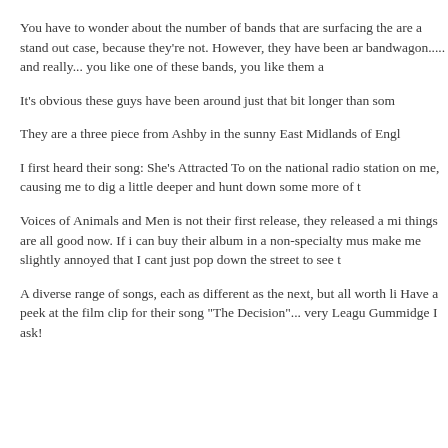You have to wonder about the number of bands that are surfacing the are a stand out case, because they're not. However, they have been ar bandwagon..... and really... you like one of these bands, you like them a
It's obvious these guys have been around just that bit longer than som
They are a three piece from Ashby in the sunny East Midlands of Engl
I first heard their song: She's Attracted To on the national radio station on me, causing me to dig a little deeper and hunt down some more of t
Voices of Animals and Men is not their first release, they released a mi things are all good now. If i can buy their album in a non-specialty mus make me slightly annoyed that I cant just pop down the street to see t
A diverse range of songs, each as different as the next, but all worth li Have a peek at the film clip for their song "The Decision"... very Leagu Gummidge I ask!